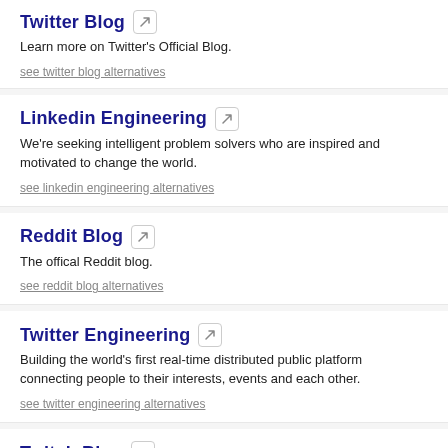Twitter Blog
Learn more on Twitter's Official Blog.
see twitter blog alternatives
Linkedin Engineering
We're seeking intelligent problem solvers who are inspired and motivated to change the world.
see linkedin engineering alternatives
Reddit Blog
The offical Reddit blog.
see reddit blog alternatives
Twitter Engineering
Building the world's first real-time distributed public platform connecting people to their interests, events and each other.
see twitter engineering alternatives
Twitch Blog
The Official Blog.
see twitch blog alternatives
Instagram Engineering
Stories from the people who build @Instagram